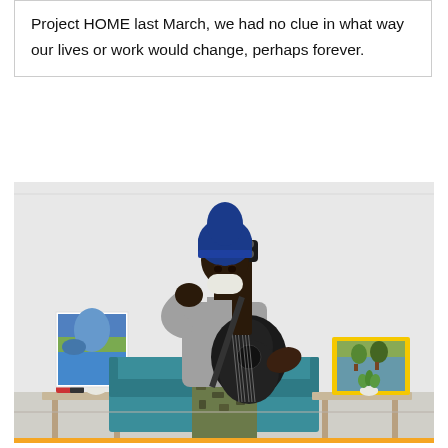Project HOME last March, we had no clue in what way our lives or work would change, perhaps forever.
[Figure (photo): A man wearing a blue beanie hat and a face mask pulled down under his chin plays a black acoustic guitar in an indoor setting. He is wearing a grey hoodie and camouflage pants. Behind him are a teal couch, colorful artwork on the left, a small table with a red mug and white plant pot on the left, and a yellow-framed photo and small plant on a table on the right. The room has white walls.]